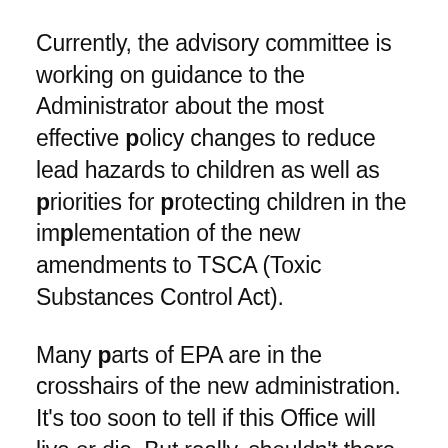Currently, the advisory committee is working on guidance to the Administrator about the most effective policy changes to reduce lead hazards to children as well as priorities for protecting children in the implementation of the new amendments to TSCA (Toxic Substances Control Act).
Many parts of EPA are in the crosshairs of the new administration. It's too soon to tell if this Office will live or die. But really, shouldn't there be some place in government's mammoth bureaucracy that's just looking out for kids? Shouldn't our kids' health transcend political ideology?
In the face of Trump's growing threats to our